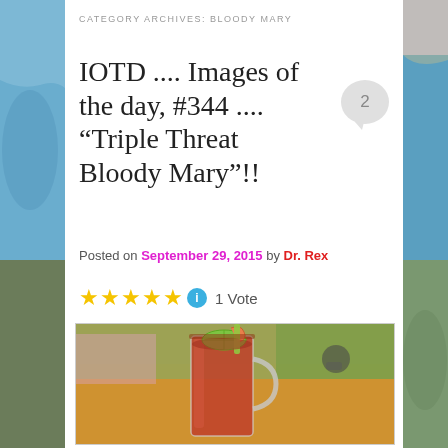CATEGORY ARCHIVES: BLOODY MARY
IOTD .... Images of the day, #344 .... “Triple Threat Bloody Mary”!!
Posted on September 29, 2015 by Dr. Rex
★★★★★ 1 Vote
[Figure (photo): Photo of a Bloody Mary cocktail in a glass mug with lime garnish and a celery stalk, on a wooden table with colorful background]